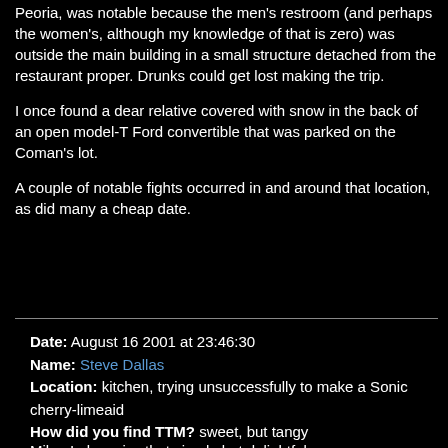Peoria, was notable because the men's restroom (and perhaps the women's, although my knowledge of that is zero) was outside the main building in a small structure detached from the restaurant proper. Drunks could get lost making the trip.
I once found a dear relative covered with snow in the back of an open model-T Ford convertible that was parked on the Coman's lot.
A couple of notable fights occurred in and around that location, as did many a cheap date.
Date: August 16 2001 at 23:46:30
Name: Steve Dallas
Location: kitchen, trying unsuccessfully to make a Sonic cherry-limeaid
How did you find TTM? sweet, but tangy
Comments:
Mike, I also miss that simple but delightful